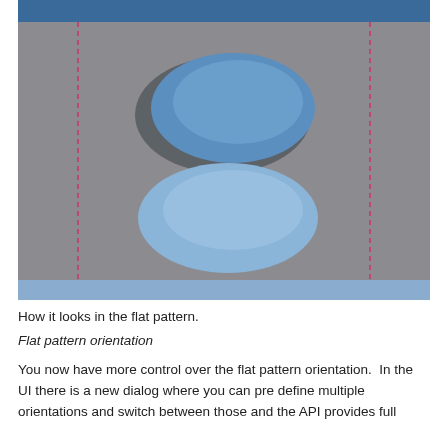[Figure (screenshot): A flat pattern CAD view showing two blue ellipses (holes) on a gray surface. The top ellipse has a shadowed/3D appearance suggesting depth, while the bottom one is flat blue. A dark blue header bar runs across the top and a light blue footer bar across the bottom. Two vertical dashed pink/red lines appear on the left and right sides of the panel.]
How it looks in the flat pattern.
Flat pattern orientation
You now have more control over the flat pattern orientation.  In the UI there is a new dialog where you can pre define multiple orientations and switch between those and the API provides full